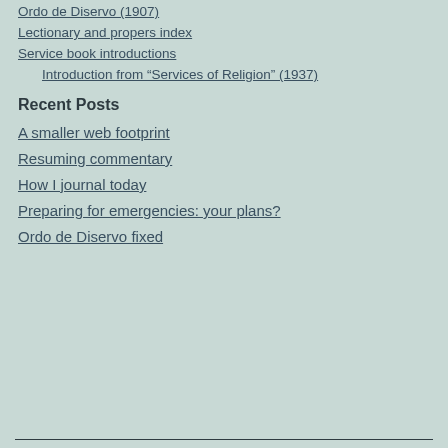Ordo de Diservo (1907)
Lectionary and propers index
Service book introductions
Introduction from “Services of Religion” (1937)
Recent Posts
A smaller web footprint
Resuming commentary
How I journal today
Preparing for emergencies: your plans?
Ordo de Diservo fixed